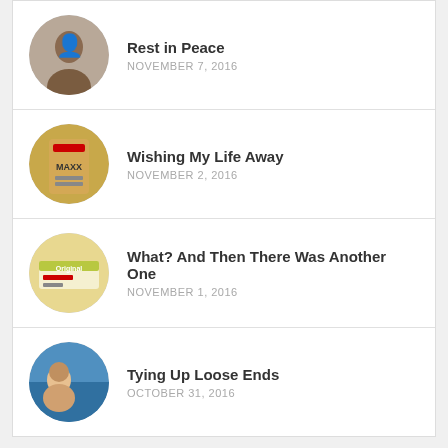Rest in Peace — NOVEMBER 7, 2016
Wishing My Life Away — NOVEMBER 2, 2016
What? And Then There Was Another One — NOVEMBER 1, 2016
Tying Up Loose Ends — OCTOBER 31, 2016
Featured Raw Food Sponsor
[Figure (photo): Man with curly hair next to a large green apple, blue sky background]